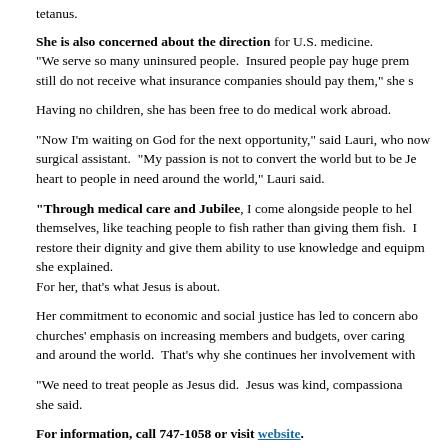tetanus.
She is also concerned about the direction for U.S. medicine. "We serve so many uninsured people. Insured people pay huge prem- still do not receive what insurance companies should pay them," she s
Having no children, she has been free to do medical work abroad.
"Now I'm waiting on God for the next opportunity," said Lauri, who now surgical assistant. "My passion is not to convert the world but to be Je- heart to people in need around the world," Lauri said.
"Through medical care and Jubilee, I come alongside people to hel- themselves, like teaching people to fish rather than giving them fish. I restore their dignity and give them ability to use knowledge and equipm- she explained.
For her, that's what Jesus is about.
Her commitment to economic and social justice has led to concern abo- churches' emphasis on increasing members and budgets, over caring and around the world. That's why she continues her involvement with
"We need to treat people as Jesus did. Jesus was kind, compassiona- she said.
For information, call 747-1058 or visit website.
Copyright © November 2008 - The Fig Tree